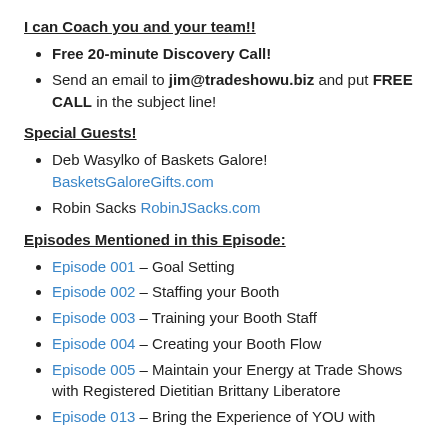I can Coach you and your team!!
Free 20-minute Discovery Call!
Send an email to jim@tradeshowu.biz and put FREE CALL in the subject line!
Special Guests!
Deb Wasylko of Baskets Galore! BasketsGaloreGifts.com
Robin Sacks RobinJSacks.com
Episodes Mentioned in this Episode:
Episode 001 – Goal Setting
Episode 002 – Staffing your Booth
Episode 003 – Training your Booth Staff
Episode 004 – Creating your Booth Flow
Episode 005 – Maintain your Energy at Trade Shows with Registered Dietitian Brittany Liberatore
Episode 013 – Bring the Experience of YOU with